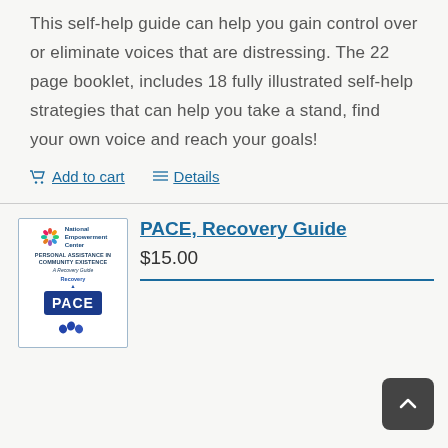This self-help guide can help you gain control over or eliminate voices that are distressing. The 22 page booklet, includes 18 fully illustrated self-help strategies that can help you take a stand, find your own voice and reach your goals!
Add to cart   Details
[Figure (illustration): Book cover for PACE Recovery Guide published by National Empowerment Center, featuring the PACE logo with footsteps graphic]
PACE, Recovery Guide
$15.00